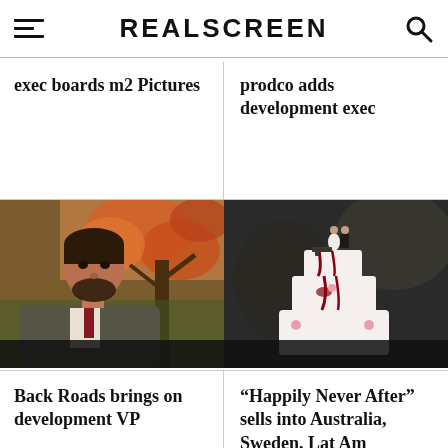REALSCREEN
exec boards m2 Pictures
prodco adds development exec
[Figure (photo): Portrait photo of a man with dark beard outdoors, autumn trees in background]
[Figure (photo): Wedding cake with bride and groom figurine toppers, dark romantic theme]
Back Roads brings on development VP
“Happily Never After” sells into Australia, Sweden, Lat Am